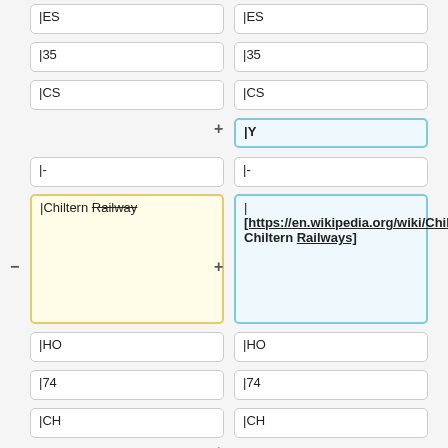|ES
|ES
|35
|35
|CS
|CS
|Y
|-
|-
|Chiltern Railway
| [https://en.wikipedia.org/wiki/Chiltern_Railways Chiltern Railways]
|HO
|HO
|74
|74
|CH
|CH
|Y